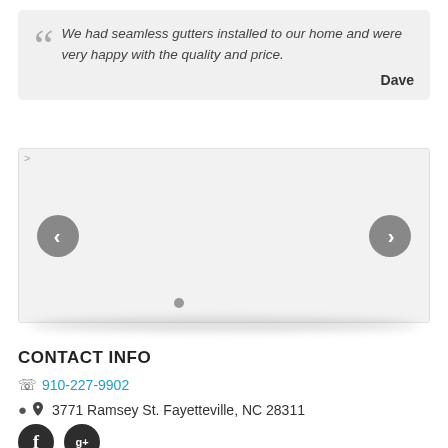We had seamless gutters installed to our home and were very happy with the quality and price. — Dave
[Figure (screenshot): Image carousel/slider with left and right navigation arrow buttons (gray circles with white chevrons), a small gray dot indicator at the bottom center, and a shadow below the slider box.]
CONTACT INFO
910-227-9902
3771 Ramsey St. Fayetteville, NC 28311
[Figure (logo): Facebook and Google Plus social media icon buttons (dark circles with F and g+ symbols)]